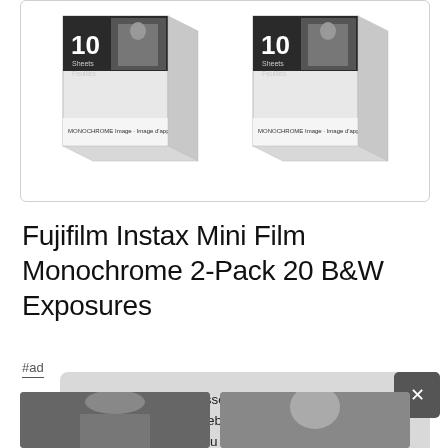[Figure (photo): Two boxes of Fujifilm Instax Mini Film Monochrome 10 sheets each, shown side by side in a white bordered product image box]
Fujifilm Instax Mini Film Monochrome 2-Pack 20 B&W Exposures
#ad
As an Amazon Associate I earn from qualifying purchases. This website uses the only necessary cookies to ensure you get the best experience on our website. More information
[Figure (photo): Partial bottom images of Fujifilm Instax Mini film boxes cropped at bottom of page]